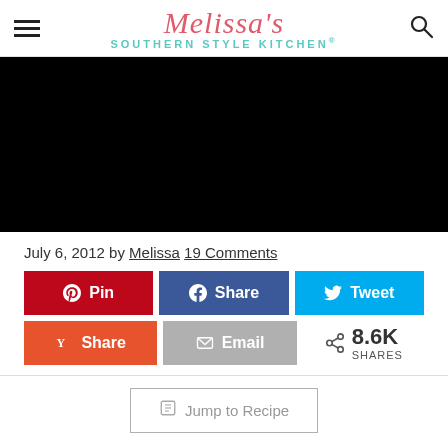Melissa's Southern Style Kitchen®
[Figure (photo): Full-width black/dark hero image area]
July 6, 2012 by Melissa 19 Comments
[Figure (infographic): Social sharing buttons: Pin (red), Share (Facebook blue), Tweet (Twitter blue), Share (Yummly orange), Email (gray), 8.6K SHARES]
Jump to Recipe